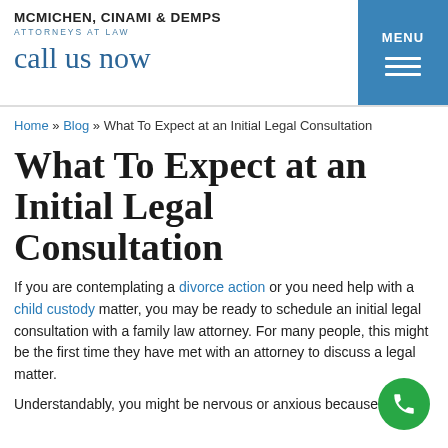MCMICHEN, CINAMI & DEMPS ATTORNEYS AT LAW | call us now | MENU
Home » Blog » What To Expect at an Initial Legal Consultation
What To Expect at an Initial Legal Consultation
If you are contemplating a divorce action or you need help with a child custody matter, you may be ready to schedule an initial legal consultation with a family law attorney. For many people, this might be the first time they have met with an attorney to discuss a legal matter.
Understandably, you might be nervous or anxious because